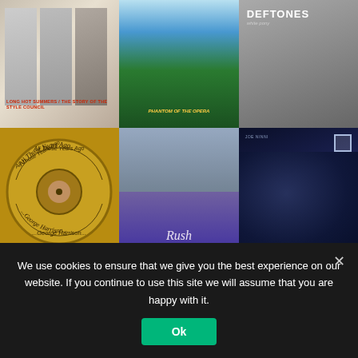[Figure (photo): Grid of 6 music album covers: Row 1: Long Hot Summers / The Story of the Style Council, Phantom of the Opera / Iron Maiden, Deftones (white pony). Row 2: All Those Years Ago - George Harrison (circular vinyl single label), Rush (Working Man album), Dark blue album (appears to be Joe Ninni or similar dark artist photo).]
TRUSTPILOT
[Figure (infographic): Trustpilot Excellent rating with 5 green stars]
We use cookies to ensure that we give you the best experience on our website. If you continue to use this site we will assume that you are happy with it.